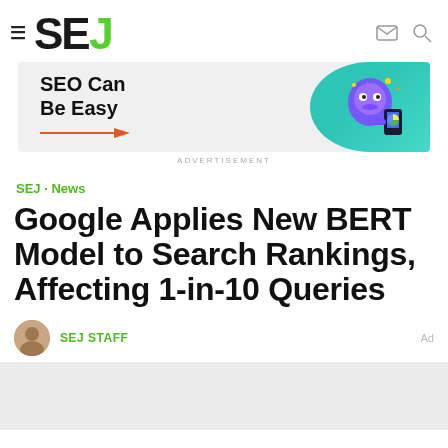SEJ (Search Engine Journal) — hamburger menu, logo, email icon, search icon
[Figure (illustration): Advertisement banner: 'SEO Can Be Easy' with orange arrow and 3D robot/character illustration on teal circular background]
ADVERTISEMENT
SEJ · News
Google Applies New BERT Model to Search Rankings, Affecting 1-in-10 Queries
SEJ STAFF